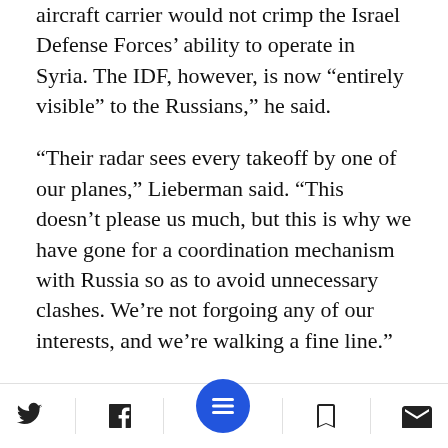aircraft carrier would not crimp the Israel Defense Forces' ability to operate in Syria. The IDF, however, is now “entirely visible” to the Russians,” he said.
“Their radar sees every takeoff by one of our planes,” Lieberman said. “This doesn’t please us much, but this is why we have gone for a coordination mechanism with Russia so as to avoid unnecessary clashes. We’re not forgoing any of our interests, and we’re walking a fine line.”
About a month ago, the Russian newspaper Izvestia reported the IDF had held the...
Social share bar with Twitter, Facebook, menu, bookmark, and mail icons